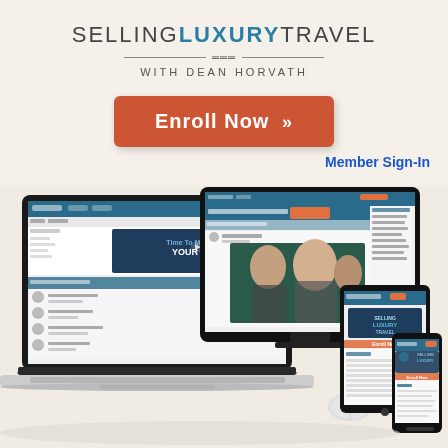support.
SELLING LUXURY TRAVEL WITH DEAN HORVATH
[Figure (illustration): Enroll Now button with double chevron arrows, orange/red rounded rectangle button]
Member Sign-In
[Figure (photo): Mockup showing the Selling Luxury Travel course website displayed on laptop, desktop monitor, tablet, and smartphone devices arranged together on a light surface]